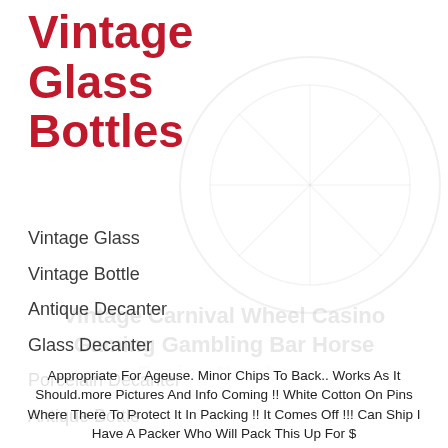Vintage Glass Bottles
[Figure (other): Faded watermark image of a carnival wheel and text overlay reading 'Vintage Carnival Wheel Casino Gaming Gambling Bar Horse Racing Numbers']
Vintage Glass
Vintage Bottle
Antique Decanter
Glass Decanter
Porcelain Decanter
Antique Bottle
Appropriate For Ageuse. Minor Chips To Back.. Works As It Should.more Pictures And Info Coming !! White Cotton On Pins Where There To Protect It In Packing !! It Comes Off !!! Can Ship I Have A Packer Who Will Pack This Up For $